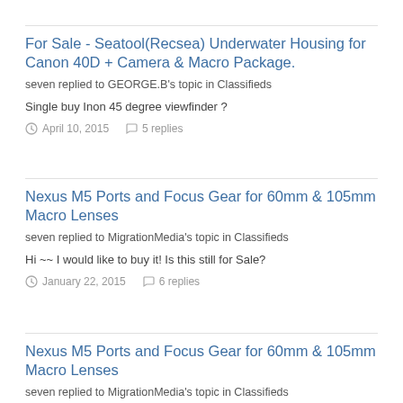For Sale - Seatool(Recsea) Underwater Housing for Canon 40D + Camera & Macro Package.
seven replied to GEORGE.B's topic in Classifieds
Single buy Inon 45 degree viewfinder ?
April 10, 2015   5 replies
Nexus M5 Ports and Focus Gear for 60mm & 105mm Macro Lenses
seven replied to MigrationMedia's topic in Classifieds
Hi ~~ I would like to buy it! Is this still for Sale?
January 22, 2015   6 replies
Nexus M5 Ports and Focus Gear for 60mm & 105mm Macro Lenses
seven replied to MigrationMedia's topic in Classifieds